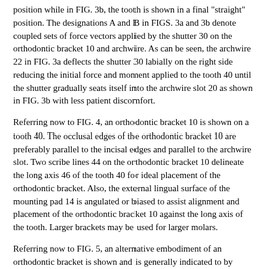position while in FIG. 3b, the tooth is shown in a final "straight" position. The designations A and B in FIGS. 3a and 3b denote coupled sets of force vectors applied by the shutter 30 on the orthodontic bracket 10 and archwire. As can be seen, the archwire 22 in FIG. 3a deflects the shutter 30 labially on the right side reducing the initial force and moment applied to the tooth 40 until the shutter gradually seats itself into the archwire slot 20 as shown in FIG. 3b with less patient discomfort.
Referring now to FIG. 4, an orthodontic bracket 10 is shown on a tooth 40. The occlusal edges of the orthodontic bracket 10 are preferably parallel to the incisal edges and parallel to the archwire slot. Two scribe lines 44 on the orthodontic bracket 10 delineate the long axis 46 of the tooth 40 for ideal placement of the orthodontic bracket. Also, the external lingual surface of the mounting pad 14 is angulated or biased to assist alignment and placement of the orthodontic bracket 10 against the long axis of the tooth. Larger brackets may be used for larger molars.
Referring now to FIG. 5, an alternative embodiment of an orthodontic bracket is shown and is generally indicated to by reference numeral 10a. In this embodiment, like reference numerals will be used to indicate like components of the first embodiment with an "a" added for clarity. As can be seen, the shutter 24a is received in undercuts 34a defined by the occlusal tie wings and the gingival tie wings.